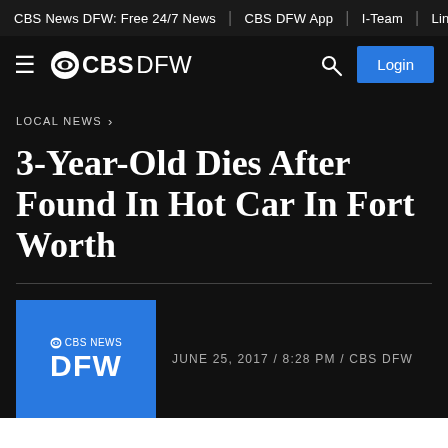CBS News DFW: Free 24/7 News | CBS DFW App | I-Team | Links & Nu
[Figure (logo): CBS DFW logo with hamburger menu, CBS eye icon, search icon, and Login button]
LOCAL NEWS ›
3-Year-Old Dies After Found In Hot Car In Fort Worth
JUNE 25, 2017 / 8:28 PM / CBS DFW